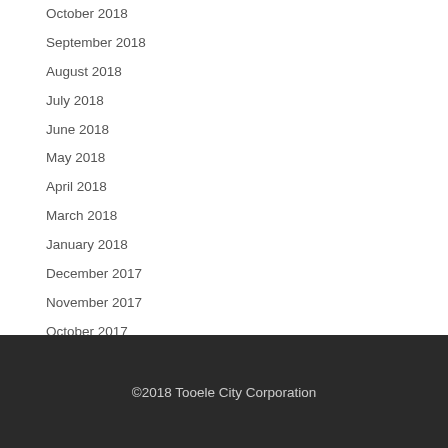October 2018
September 2018
August 2018
July 2018
June 2018
May 2018
April 2018
March 2018
January 2018
December 2017
November 2017
October 2017
September 2017
©2018 Tooele City Corporation